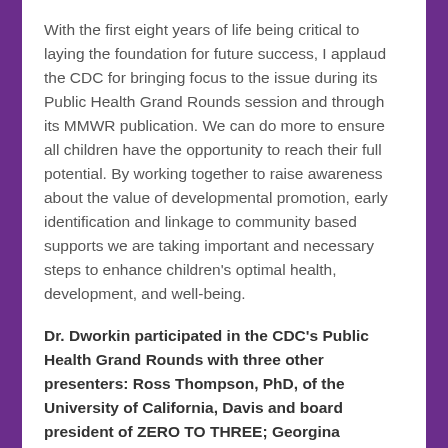With the first eight years of life being critical to laying the foundation for future success, I applaud the CDC for bringing focus to the issue during its Public Health Grand Rounds session and through its MMWR publication. We can do more to ensure all children have the opportunity to reach their full potential. By working together to raise awareness about the value of developmental promotion, early identification and linkage to community based supports we are taking important and necessary steps to enhance children's optimal health, development, and well-being.
Dr. Dworkin participated in the CDC's Public Health Grand Rounds with three other presenters: Ross Thompson, PhD, of the University of California, Davis and board president of ZERO TO THREE; Georgina Peacock, MD, of the CDC; and